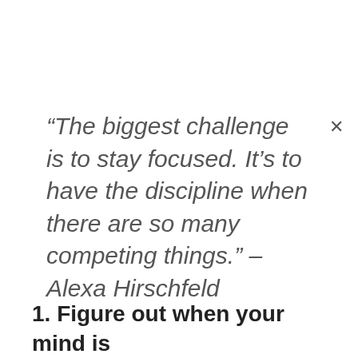“The biggest challenge is to stay focused. It’s to have the discipline when there are so many competing things.” – Alexa Hirschfeld
1. Figure out when your mind is